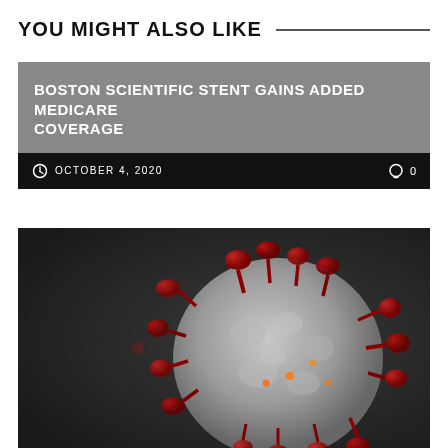YOU MIGHT ALSO LIKE
BOSTON SCIENTIFIC STENT GAINS ADDED MEDICARE COVERAGE
OCTOBER 4, 2020   0
[Figure (photo): 3D illustration of coronavirus particle with red spike proteins on gray surface against dark background]